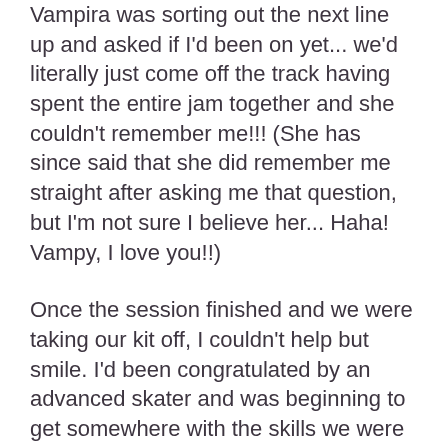Vampira was sorting out the next line up and asked if I'd been on yet... we'd literally just come off the track having spent the entire jam together and she couldn't remember me!!! (She has since said that she did remember me straight after asking me that question, but I'm not sure I believe her... Haha! Vampy, I love you!!)
Once the session finished and we were taking our kit off, I couldn't help but smile. I'd been congratulated by an advanced skater and was beginning to get somewhere with the skills we were being taught. This crazy, stressful, difficult sport was leaving me super excited for the next session and I drove home with a huge grin plastered across